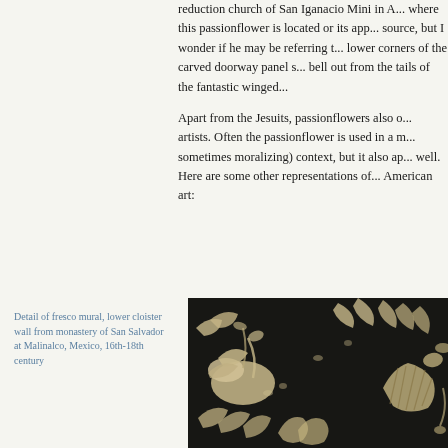reduction church of San Iganacio Mini in A... where this passionflower is located or its app... source, but I wonder if he may be referring t... lower corners of the carved doorway panel s... bell out from the tails of the fantastic winged...

Apart from the Jesuits, passionflowers also o... artists. Often the passionflower is used in a m... sometimes moralizing) context, but it also ap... well. Here are some other representations of... American art:
Detail of fresco mural, lower cloister wall from monastery of San Salvador at Malinalco, Mexico, 16th-18th century
[Figure (photo): Detail of a fresco mural showing decorative creatures and floral motifs in dark tones with cream/beige highlights, from the lower cloister wall of the monastery of San Salvador at Malinalco, Mexico, 16th-18th century.]